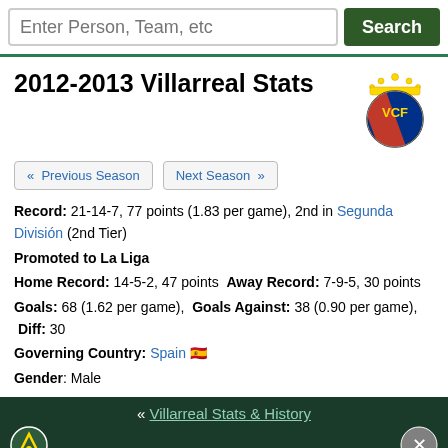Enter Person, Team, etc | Search
2012-2013 Villarreal Stats
[Figure (logo): Villarreal CF club crest logo with yellow crown, blue circle, red diagonal stripe, VCF letters]
« Previous Season
Next Season »
Record: 21-14-7, 77 points (1.83 per game), 2nd in Segunda División (2nd Tier)
Promoted to La Liga
Home Record: 14-5-2, 47 points  Away Record: 7-9-5, 30 points
Goals: 68 (1.62 per game),  Goals Against: 38 (0.90 per game),  Diff: 30
Governing Country: Spain 🇪🇸
Gender: Male
« Villarreal Stats & History
[Figure (infographic): Advertisement: GET THE DISNEY BUNDLE - hulu, Disney+, ESPN+]
More Villarreal Pages